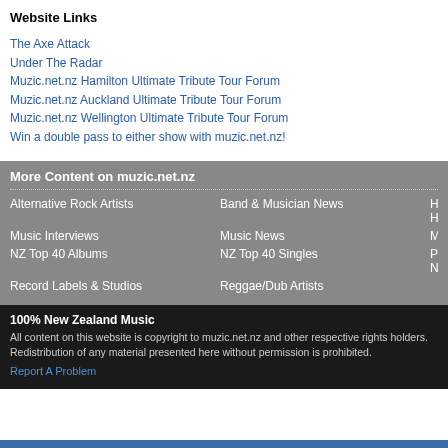Website Links
The Axe Attack
Under The Radar
Muzic.net.nz Hamilton Ultimate Tribute Tour Forum
Muzic.net.nz Auckland Ultimate Tribute Tour Forum
Muzic.net.nz Wellington Ultimate Tribute Tour Forum
Win a double pass to either show with muzic.net.nz!
More Content on muzic.net.nz
Alternative Rock Artists
Band & Musician News
Hip Ho...
Music Interviews
Music News
Music...
NZ Top 40 Albums
NZ Top 40 Singles
Past N...
Record Labels & Studios
Reggae/Dub Artists
100% New Zealand Music
All content on this website is copyright to muzic.net.nz and other respective rights holders. Redistribution of any material presented here without permission is prohibited.
Report A Problem